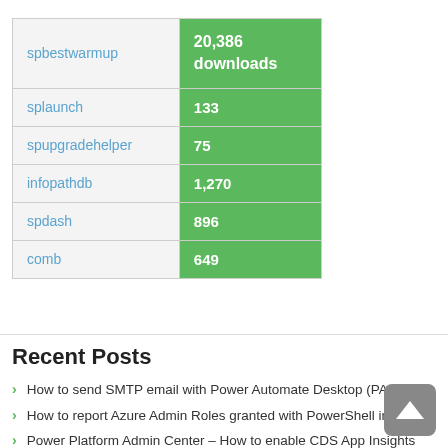| Name | Downloads |
| --- | --- |
| spbestwarmup | 20,386 downloads |
| splaunch | 133 |
| spupgradehelper | 75 |
| infopathdb | 1,270 |
| spdash | 896 |
| comb | 649 |
Recent Posts
How to send SMTP email with Power Automate Desktop (PAD)
How to report Azure Admin Roles granted with PowerShell into CSV
Power Platform Admin Center – How to enable CDS App Insights